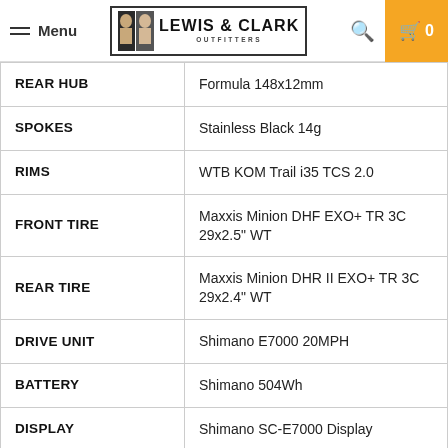Menu | Lewis & Clark Outfitters
| Spec | Value |
| --- | --- |
| REAR HUB | Formula 148x12mm |
| SPOKES | Stainless Black 14g |
| RIMS | WTB KOM Trail i35 TCS 2.0 |
| FRONT TIRE | Maxxis Minion DHF EXO+ TR 3C 29x2.5" WT |
| REAR TIRE | Maxxis Minion DHR II EXO+ TR 3C 29x2.4" WT |
| DRIVE UNIT | Shimano E7000 20MPH |
| BATTERY | Shimano 504Wh |
| DISPLAY | Shimano SC-E7000 Display |
| CHARGER | Shimano STEPS 2A |
| BATTERY LOCK | n/a |